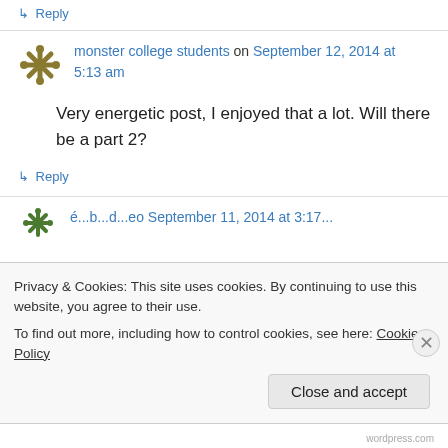↳ Reply
monster college students on September 12, 2014 at 5:13 am
Very energetic post, I enjoyed that a lot. Will there be a part 2?
↳ Reply
Privacy & Cookies: This site uses cookies. By continuing to use this website, you agree to their use. To find out more, including how to control cookies, see here: Cookie Policy
Close and accept